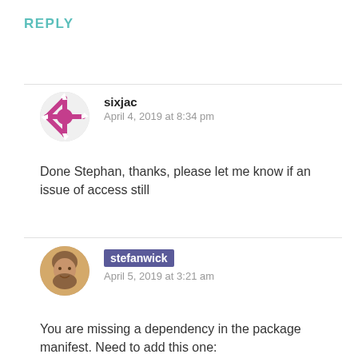REPLY
sixjac
April 4, 2019 at 8:34 pm
Done Stephan, thanks, please let me know if an issue of access still
Like
stefanwick
April 5, 2019 at 3:21 am
You are missing a dependency in the package manifest. Need to add this one: